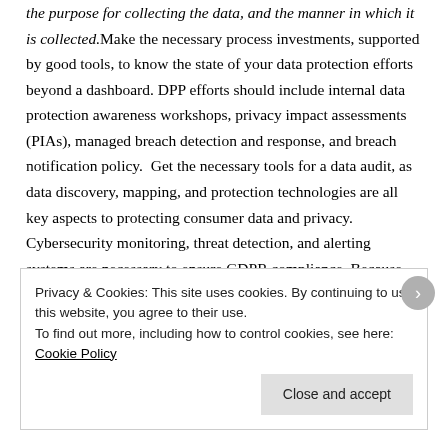the purpose for collecting the data, and the manner in which it is collected. Make the necessary process investments, supported by good tools, to know the state of your data protection efforts beyond a dashboard. DPP efforts should include internal data protection awareness workshops, privacy impact assessments (PIAs), managed breach detection and response, and breach notification policy. Get the necessary tools for a data audit, as data discovery, mapping, and protection technologies are all key aspects to protecting consumer data and privacy. Cybersecurity monitoring, threat detection, and alerting systems are necessary to ensure GDPR compliance. Because under current GDPR
Privacy & Cookies: This site uses cookies. By continuing to use this website, you agree to their use.
To find out more, including how to control cookies, see here: Cookie Policy